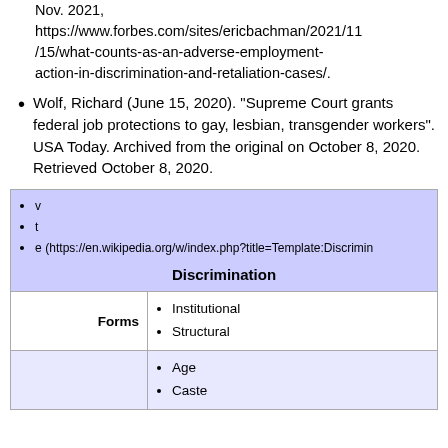Nov. 2021, https://www.forbes.com/sites/ericbachman/2021/11/15/what-counts-as-an-adverse-employment-action-in-discrimination-and-retaliation-cases/.
Wolf, Richard (June 15, 2020). "Supreme Court grants federal job protections to gay, lesbian, transgender workers". USA Today. Archived from the original on October 8, 2020. Retrieved October 8, 2020.
|  | Discrimination |
| --- | --- |
| Forms | Institutional
Structural |
|  | Age
Caste |